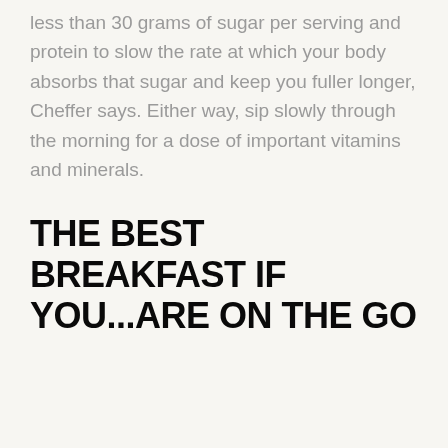less than 30 grams of sugar per serving and protein to slow the rate at which your body absorbs that sugar and keep you fuller longer, Cheffer says. Either way, sip slowly through the morning for a dose of important vitamins and minerals.
THE BEST BREAKFAST IF YOU...ARE ON THE GO